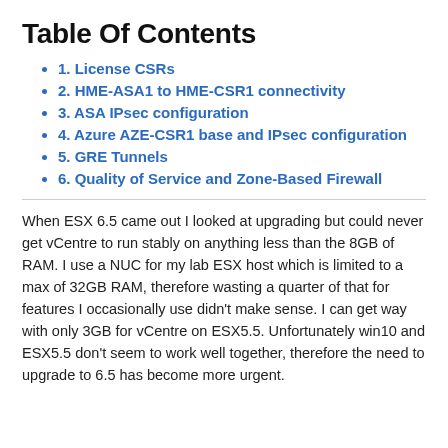Table Of Contents
1. License CSRs
2. HME-ASA1 to HME-CSR1 connectivity
3. ASA IPsec configuration
4. Azure AZE-CSR1 base and IPsec configuration
5. GRE Tunnels
6. Quality of Service and Zone-Based Firewall
When ESX 6.5 came out I looked at upgrading but could never get vCentre to run stably on anything less than the 8GB of RAM. I use a NUC for my lab ESX host which is limited to a max of 32GB RAM, therefore wasting a quarter of that for features I occasionally use didn't make sense. I can get way with only 3GB for vCentre on ESX5.5. Unfortunately win10 and ESX5.5 don't seem to work well together, therefore the need to upgrade to 6.5 has become more urgent.